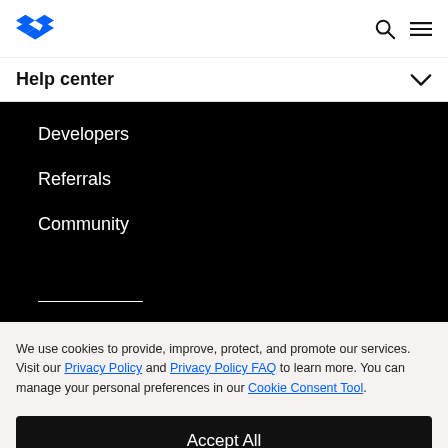Dropbox Help center
Developers
Referrals
Community
We use cookies to provide, improve, protect, and promote our services. Visit our Privacy Policy and Privacy Policy FAQ to learn more. You can manage your personal preferences in our Cookie Consent Tool.
Accept All
Manage